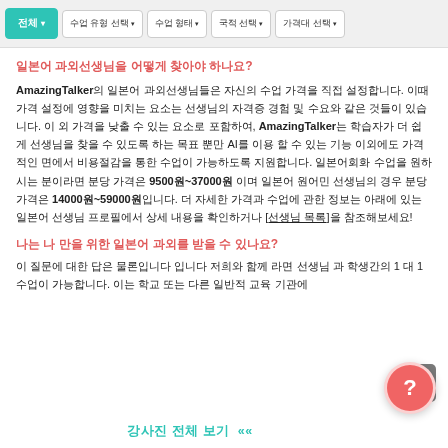전체  |  수업 유형 선택  |  수업 형태  |  국적 선택  |  가격대 선택
일본어 과외선생님을 어떻게 찾아야 하나요?
AmazingTalker의 일본어 과외선생님들은 자신의 수업 가격을 직접 설정합니다. 이때 가격 설정에 영향을 미치는 요소는 선생님의 자격증 경험 및 수요와 같은 것들이 있습니다. 이 외 가격을 낮출 수 있는 요소로 포함하여, AmazingTalker는 학습자가 더 쉽게 선생님을 찾을 수 있도록 하는 목표 뿐만 AI를 이용 할 수 있는 기능 이외에도 가격적인 면에서 비용절감을 통한 수업이 가능하도록 지원합니다. 일본어회화 수업을 원하시는 분이라면 분당 가격은 9500원~37000원 이며 일본어 원어민 선생님의 경우 분당 가격은 14000원~59000원입니다. 더 자세한 가격과 수업에 관한 정보는 아래에 있는 일본어 선생님 프로필에서 상세 내용을 확인하거나 [선생님 목록]을 참조해보세요!
나는 나 만을 위한 일본어 과외를 받을 수 있나요?
이 질문에 대한 답은 물론입니다 입니다 저희와 함께 라면 선생님 과 학생간의 1 대 1 수업이 가능합니다. 이는 학교 또는 다른 일반적 교육 기관에